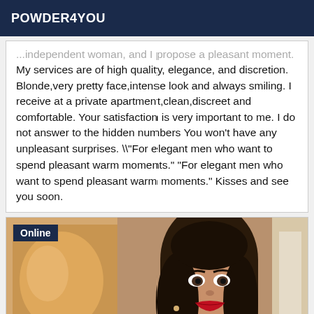POWDER4YOU
...independent woman, and I propose a pleasant moment. My services are of high quality, elegance, and discretion. Blonde,very pretty face,intense look and always smiling. I receive at a private apartment,clean,discreet and comfortable. Your satisfaction is very important to me. I do not answer to the hidden numbers You won't have any unpleasant surprises. \"For elegant men who want to spend pleasant warm moments." "For elegant men who want to spend pleasant warm moments." Kisses and see you soon.
[Figure (photo): Portrait photo of a young brunette woman with red lipstick, with an 'Online' badge in the top left corner]